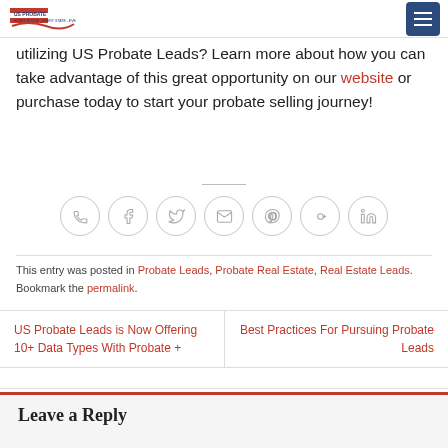US Probate Leads logo and menu button
utilizing US Probate Leads? Learn more about how you can take advantage of this great opportunity on our website or purchase today to start your probate selling journey!
[Figure (infographic): Row of 7 circular social share icons: phone, Facebook, Twitter, email, Pinterest, Google+, LinkedIn]
This entry was posted in Probate Leads, Probate Real Estate, Real Estate Leads. Bookmark the permalink.
US Probate Leads is Now Offering 10+ Data Types With Probate +
Best Practices For Pursuing Probate Leads
Leave a Reply